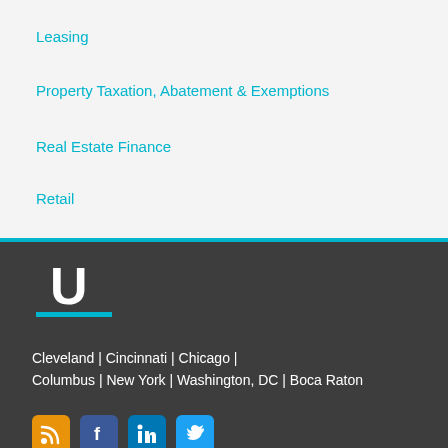Leasing
Property Taxation, Abatement & Exemptions
Real Estate Finance
Retail
[Figure (logo): Underline logo — white letter U with cyan underline bar on dark gray background]
Cleveland | Cincinnati | Chicago | Columbus | New York | Washington, DC | Boca Raton
[Figure (infographic): Row of four social media icons: RSS (orange), Facebook (blue), LinkedIn (blue), Twitter (cyan)]